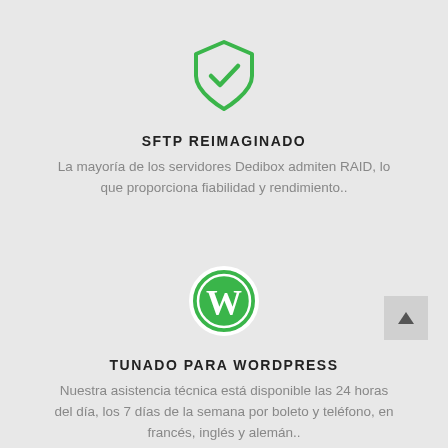[Figure (illustration): Green shield with checkmark icon]
SFTP REIMAGINADO
La mayoría de los servidores Dedibox admiten RAID, lo que proporciona fiabilidad y rendimiento..
[Figure (logo): WordPress circular logo in green]
TUNADO PARA WORDPRESS
Nuestra asistencia técnica está disponible las 24 horas del día, los 7 días de la semana por boleto y teléfono, en francés, inglés y alemán..